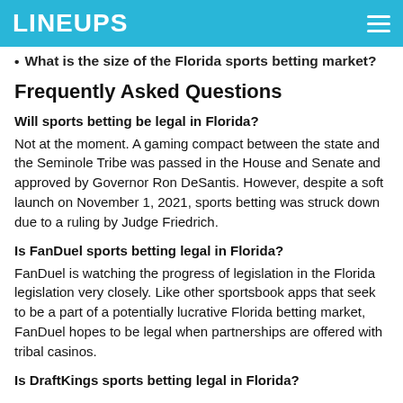LINEUPS
What is the size of the Florida sports betting market?
Frequently Asked Questions
Will sports betting be legal in Florida?
Not at the moment. A gaming compact between the state and the Seminole Tribe was passed in the House and Senate and approved by Governor Ron DeSantis. However, despite a soft launch on November 1, 2021, sports betting was struck down due to a ruling by Judge Friedrich.
Is FanDuel sports betting legal in Florida?
FanDuel is watching the progress of legislation in the Florida legislation very closely. Like other sportsbook apps that seek to be a part of a potentially lucrative Florida betting market, FanDuel hopes to be legal when partnerships are offered with tribal casinos.
Is DraftKings sports betting legal in Florida?